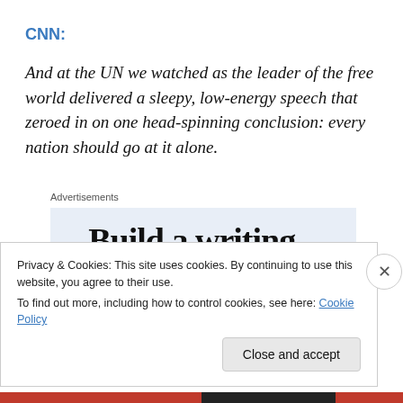CNN:
And at the UN we watched as the leader of the free world delivered a sleepy, low-energy speech that zeroed in on one head-spinning conclusion: every nation should go at it alone.
Advertisements
[Figure (other): Advertisement placeholder showing partial text 'Build a writing...']
Privacy & Cookies: This site uses cookies. By continuing to use this website, you agree to their use.
To find out more, including how to control cookies, see here: Cookie Policy
Close and accept